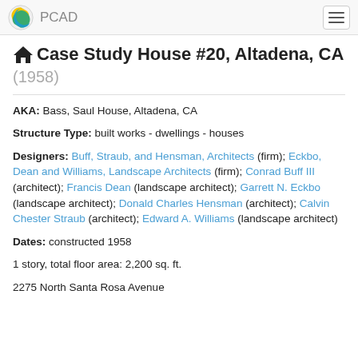PCAD
Case Study House #20, Altadena, CA (1958)
AKA: Bass, Saul House, Altadena, CA
Structure Type: built works - dwellings - houses
Designers: Buff, Straub, and Hensman, Architects (firm); Eckbo, Dean and Williams, Landscape Architects (firm); Conrad Buff III (architect); Francis Dean (landscape architect); Garrett N. Eckbo (landscape architect); Donald Charles Hensman (architect); Calvin Chester Straub (architect); Edward A. Williams (landscape architect)
Dates: constructed 1958
1 story, total floor area: 2,200 sq. ft.
2275 North Santa Rosa Avenue